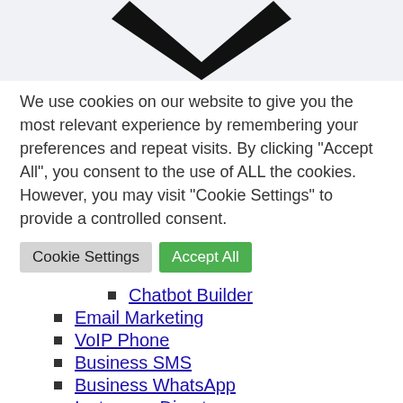[Figure (illustration): Large black chevron/checkmark arrow pointing downward on a light gray background]
We use cookies on our website to give you the most relevant experience by remembering your preferences and repeat visits. By clicking “Accept All”, you consent to the use of ALL the cookies. However, you may visit “Cookie Settings” to provide a controlled consent.
Cookie Settings   Accept All
Chatbot Builder
Email Marketing
VoIP Phone
Business SMS
Business WhatsApp
Instagram Direct